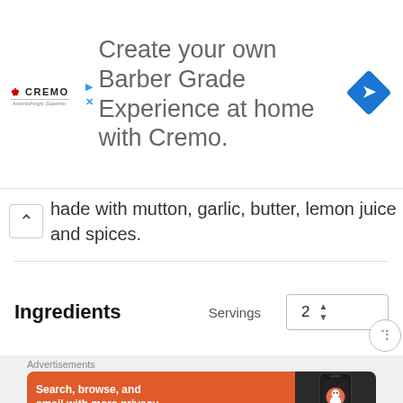[Figure (screenshot): Cremo advertisement banner: 'Create your own Barber Grade Experience at home with Cremo.' with Cremo logo and a blue diamond navigation icon on the right.]
made with mutton, garlic, butter, lemon juice and spices.
Ingredients
Servings  2
Advertisements
[Figure (screenshot): DuckDuckGo advertisement: 'Search, browse, and email with more privacy. All in One Free App' on orange background with phone showing DuckDuckGo logo.]